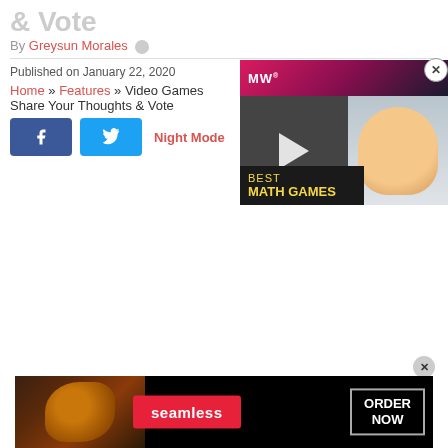& Vote
By Greysun Morales
Published on January 22, 2020
Home » Features » Video Games Share Your Thoughts & Vote
[Figure (screenshot): Social share buttons: Facebook (blue) and Twitter (light blue), followed by Night Mode link]
[Figure (screenshot): MathWay video ad overlay showing 'BEST MATH GAMES' with animated character and play button]
[Figure (screenshot): Seamless food delivery banner ad at bottom with pizza image, seamless logo, and ORDER NOW button]